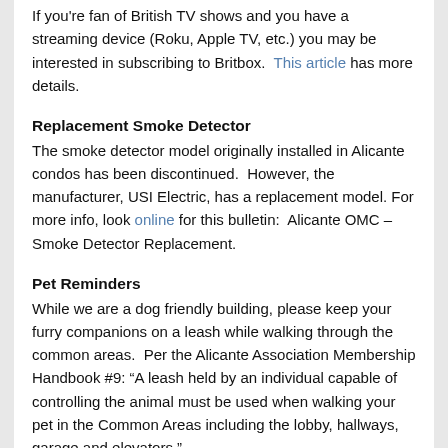If you're fan of British TV shows and you have a streaming device (Roku, Apple TV, etc.) you may be interested in subscribing to Britbox.  This article has more details.
Replacement Smoke Detector
The smoke detector model originally installed in Alicante condos has been discontinued.  However, the manufacturer, USI Electric, has a replacement model. For more info, look online for this bulletin:  Alicante OMC – Smoke Detector Replacement.
Pet Reminders
While we are a dog friendly building, please keep your furry companions on a leash while walking through the common areas.  Per the Alicante Association Membership Handbook #9: “A leash held by an individual capable of controlling the animal must be used when walking your pet in the Common Areas including the lobby, hallways, garage and elevators.”
Additionally, please do not allow your pet to relieve themselves in the planters!  To reduce confusing your furry friend, please do not walk your pet through the patio/recreational area.